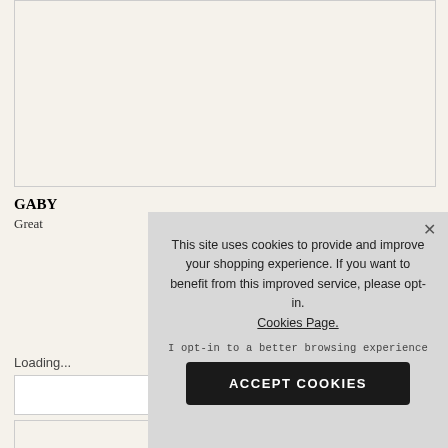[Figure (photo): Product image placeholder area with light cream background]
GABY
Great
Loading...
[Figure (screenshot): Cookie consent overlay popup with message: This site uses cookies to provide and improve your shopping experience. If you want to benefit from this improved service, please opt-in. Cookies Page. I opt-in to a better browsing experience. ACCEPT COOKIES button.]
EMAIL A FRIEND